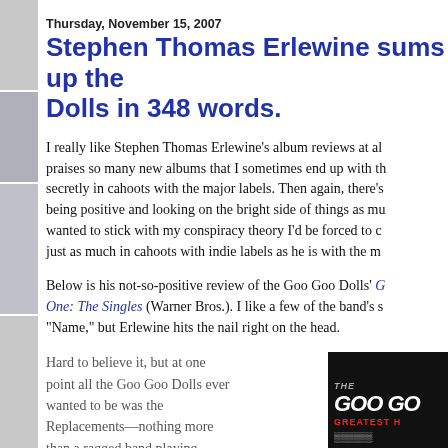Thursday, November 15, 2007
Stephen Thomas Erlewine sums up the Goo Goo Dolls in 348 words.
I really like Stephen Thomas Erlewine's album reviews at allmusic. He praises so many new albums that I sometimes end up with the feeling he's secretly in cahoots with the major labels. Then again, there's something to being positive and looking on the bright side of things as much as possible. If I wanted to stick with my conspiracy theory I'd be forced to concede that he's just as much in cahoots with indie labels as he is with the major ones.
Below is his not-so-positive review of the Goo Goo Dolls' Greatest Hits, One: The Singles (Warner Bros.). I like a few of the band's songs, including "Name," but Erlewine hits the nail right on the head.
Hard to believe it, but at one point all the Goo Goo Dolls ever wanted to be was the Replacements—nothing more than a ragged band playing